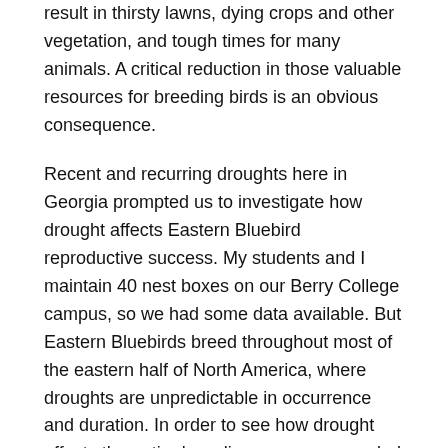result in thirsty lawns, dying crops and other vegetation, and tough times for many animals. A critical reduction in those valuable resources for breeding birds is an obvious consequence.
Recent and recurring droughts here in Georgia prompted us to investigate how drought affects Eastern Bluebird reproductive success. My students and I maintain 40 nest boxes on our Berry College campus, so we had some data available. But Eastern Bluebirds breed throughout most of the eastern half of North America, where droughts are unpredictable in occurrence and duration. In order to see how drought affects the entire breeding range, we needed more data. NestWatch to the rescue! Thanks to the dedication of citizen scientists from more than 35 states and 3 Canadian provinces, NestWatch provided us with more than 26,000 Eastern Bluebird nesting observations spanning 7 years.